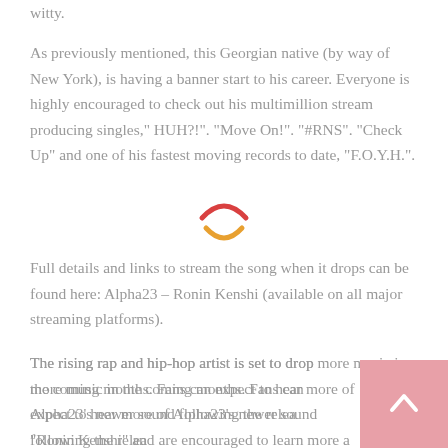witty.
As previously mentioned, this Georgian native (by way of New York), is having a banner start to his career. Everyone is highly encouraged to check out his multimillion stream producing singles," HUH?!". "Move On!". "#RNS". "Check Up" and one of his fastest moving records to date, "F.O.Y.H.".
[Figure (other): Loading spinner graphic with red and orange arcs]
Full details and links to stream the song when it drops can be found here: Alpha23 – Ronin Kenshi (available on all major streaming platforms).
The rising rap and hip-hop artist is set to drop more music in the coming months. Fans can expect to hear more of Alpha23's newer sound following the release of "Ronin Kenshi" and are encouraged to learn more and sign up for updates on the rapper's official website,